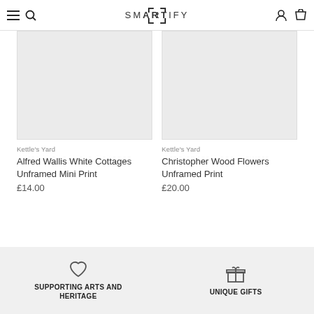SMARTIFY
[Figure (photo): Product image placeholder - light grey rectangle for Alfred Wallis White Cottages Unframed Mini Print]
Kettle's Yard
Alfred Wallis White Cottages Unframed Mini Print
£14.00
[Figure (photo): Product image placeholder - light grey rectangle for Christopher Wood Flowers Unframed Print]
Kettle's Yard
Christopher Wood Flowers Unframed Print
£20.00
SUPPORTING ARTS AND HERITAGE
UNIQUE GIFTS